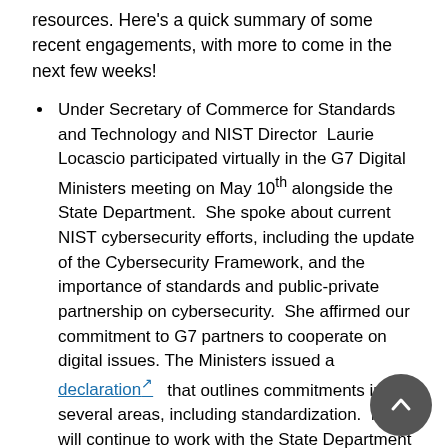resources.  Here's a quick summary of some recent engagements, with more to come in the next few weeks!
Under Secretary of Commerce for Standards and Technology and NIST Director  Laurie Locascio participated virtually in the G7 Digital Ministers meeting on May 10th alongside the State Department.  She spoke about current NIST cybersecurity efforts, including the update of the Cybersecurity Framework, and the importance of standards and public-private partnership on cybersecurity.  She affirmed our commitment to G7 partners to cooperate on digital issues. The Ministers issued a declaration that outlines commitments in several areas, including standardization.  NIST will continue to work with the State Department to support U.S. government engagement in the G7.
NIST is actively involved in the U.S.-European Union Trade and Technology Council (TTC) on a number of topics, including standards and artificial intelligence.  NIST